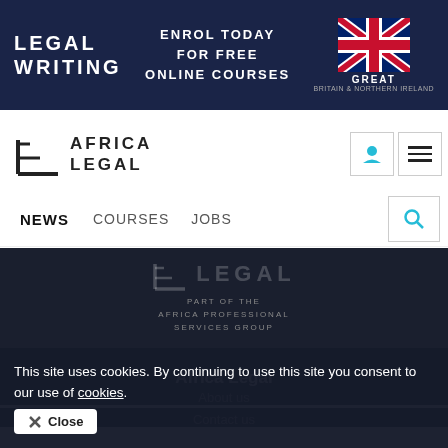[Figure (logo): Legal Writing / GREAT Britain & Northern Ireland banner ad with dark navy background]
[Figure (logo): Africa Legal website logo with icon on white background]
NEWS   COURSES   JOBS
[Figure (logo): Africa Legal dark footer logo: LEGAL - PART OF THE AFRICA PROFESSIONAL SERVICES GROUP]
Africa Legal
About us
Contact us
Terms of use
Privacy and cookies policy
Members
This site uses cookies. By continuing to use this site you consent to our use of cookies.